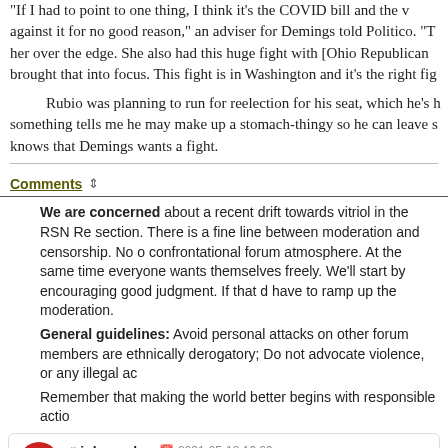"If I had to point to one thing, I think it's the COVID bill and the vote against it for no good reason," an adviser for Demings told Politico. "That put her over the edge. She also had this huge fight with [Ohio Republican] … brought that into focus. This fight is in Washington and it's the right fight.
Rubio was planning to run for reelection for his seat, which he's held … something tells me he may make up a stomach-thingy so he can leave … knows that Demings wants a fight.
Comments
We are concerned about a recent drift towards vitriol in the RSN Reader Comments section. There is a fine line between moderation and censorship. No one wants a confrontational forum atmosphere. At the same time everyone wants to express themselves freely. We'll start by encouraging good judgment. If that doesn't work we'll have to ramp up the moderation.
General guidelines: Avoid personal attacks on other forum members; Don't use profanity; Say nothing that you wouldn't say face-to-face. Don't make comments that are ethnically derogatory; Do not advocate violence, or any illegal activities.
Remember that making the world better begins with responsible action.
# johnescher 2021-05-18 16:09
Demings?
# DorriO